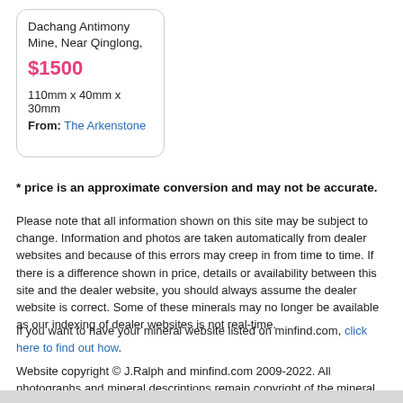Dachang Antimony Mine, Near Qinglong,
$1500
110mm x 40mm x 30mm
From: The Arkenstone
* price is an approximate conversion and may not be accurate.
Please note that all information shown on this site may be subject to change. Information and photos are taken automatically from dealer websites and because of this errors may creep in from time to time. If there is a difference shown in price, details or availability between this site and the dealer website, you should always assume the dealer website is correct. Some of these minerals may no longer be available as our indexing of dealer websites is not real-time.
If you want to have your mineral website listed on minfind.com, click here to find out how.
Website copyright © J.Ralph and minfind.com 2009-2022. All photographs and mineral descriptions remain copyright of the mineral dealers. All Rights Reserved.